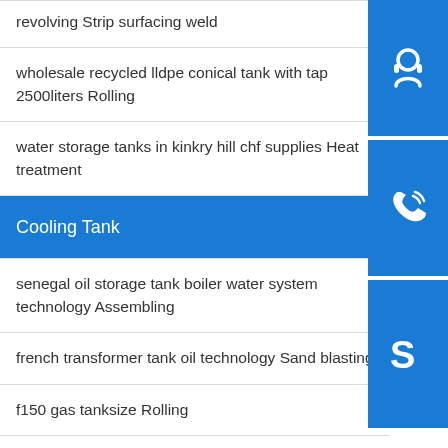revolving Strip surfacing weld
wholesale recycled lldpe conical tank with tap 2500liters Rolling
water storage tanks in kinkry hill chf supplies Heat treatment
Cooling Tank
senegal oil storage tank boiler water system technology Assembling
french transformer tank oil technology Sand blasting
f150 gas tanksize Rolling
[Figure (illustration): Three blue icon buttons on the right sidebar: headset/support icon, phone icon, and Skype icon]